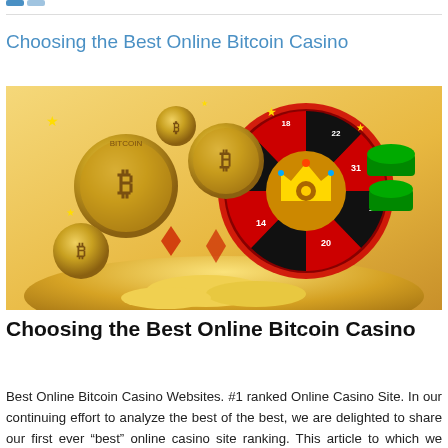Choosing the Best Online Bitcoin Casino
[Figure (photo): A casino-themed image featuring flying Bitcoin gold coins, a roulette wheel with colorful numbers, poker chips in red and green, a golden crown, and a pile of gold coins on a warm yellow-orange background.]
Choosing the Best Online Bitcoin Casino
Best Online Bitcoin Casino Websites. #1 ranked Online Casino Site. In our continuing effort to analyze the best of the best, we are delighted to share our first ever “best” online casino site ranking. This article to which we have dedicated an entire